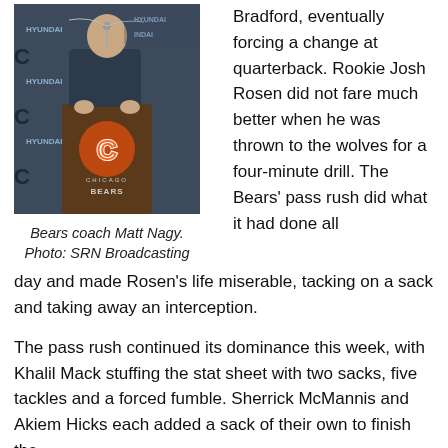[Figure (photo): Bears coach Matt Nagy standing at a podium with the Chicago Bears logo visible. Hyundai logos on the backdrop.]
Bears coach Matt Nagy. Photo: SRN Broadcasting
Bradford, eventually forcing a change at quarterback. Rookie Josh Rosen did not fare much better when he was thrown to the wolves for a four-minute drill. The Bears' pass rush did what it had done all day and made Rosen's life miserable, tacking on a sack and taking away an interception.
The pass rush continued its dominance this week, with Khalil Mack stuffing the stat sheet with two sacks, five tackles and a forced fumble. Sherrick McMannis and Akiem Hicks each added a sack of their own to finish the